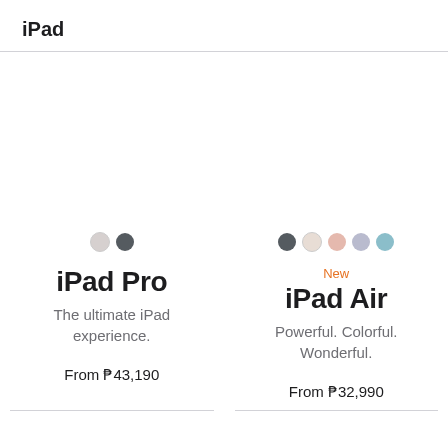iPad
[Figure (illustration): iPad Pro product listing with color swatches (light gray and dark gray dots), product name, description, and price]
[Figure (illustration): iPad Air product listing with New label, color swatches (dark gray, beige, pink, purple, blue dots), product name, description, and price]